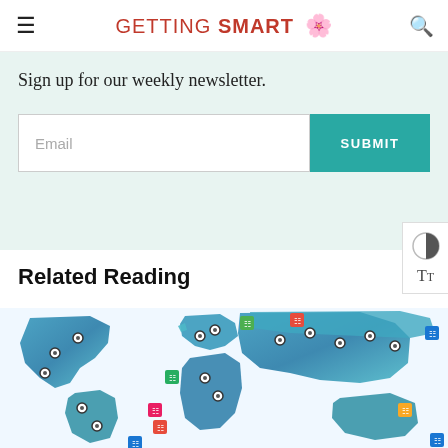GETTING SMART
Sign up for our weekly newsletter.
[Figure (screenshot): Email input field with placeholder text 'Email' and a teal SUBMIT button]
Related Reading
[Figure (map): World map in teal/blue watercolor style with location pins and colored category icon markers scattered across various countries]